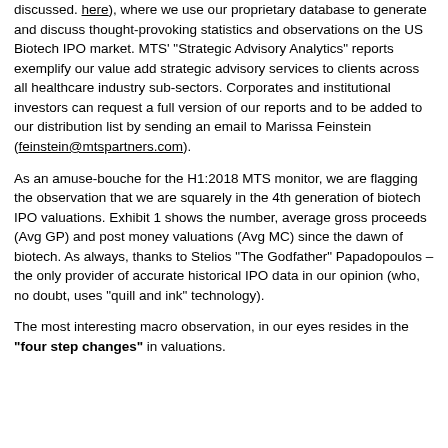discussed here), where we use our proprietary database to generate and discuss thought-provoking statistics and observations on the US Biotech IPO market. MTS' "Strategic Advisory Analytics" reports exemplify our value add strategic advisory services to clients across all healthcare industry sub-sectors. Corporates and institutional investors can request a full version of our reports and to be added to our distribution list by sending an email to Marissa Feinstein (feinstein@mtspartners.com).
As an amuse-bouche for the H1:2018 MTS monitor, we are flagging the observation that we are squarely in the 4th generation of biotech IPO valuations. Exhibit 1 shows the number, average gross proceeds (Avg GP) and post money valuations (Avg MC) since the dawn of biotech. As always, thanks to Stelios "The Godfather" Papadopoulos – the only provider of accurate historical IPO data in our opinion (who, no doubt, uses "quill and ink" technology).
The most interesting macro observation, in our eyes resides in the "four step changes" in valuations.